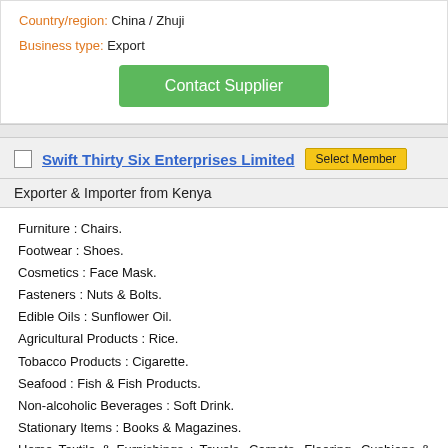Country/region: China / Zhuji
Business type: Export
Contact Supplier
Swift Thirty Six Enterprises Limited
Exporter & Importer from Kenya
Furniture : Chairs.
Footwear : Shoes.
Cosmetics : Face Mask.
Fasteners : Nuts & Bolts.
Edible Oils : Sunflower Oil.
Agricultural Products : Rice.
Tobacco Products : Cigarette.
Seafood : Fish & Fish Products.
Non-alcoholic Beverages : Soft Drink.
Stationary Items : Books & Magazines.
Home Textile & Furnishings : Towels, Carpets, Flooring, Cushions & Pillows, Mattresses, Quilts.